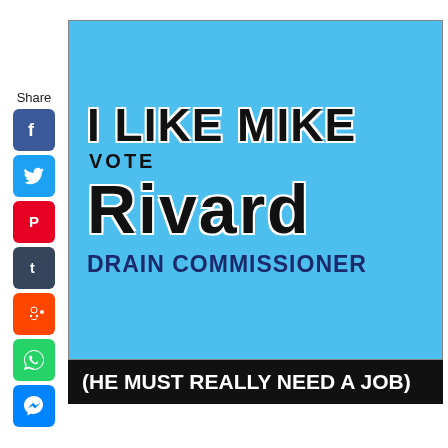Share
[Figure (photo): A blue political yard sign reading 'I LIKE MIKE / VOTE / Rivard / DRAIN COMMISSIONER' with a black caption bar below reading '(HE MUST REALLY NEED A JOB)']
(HE MUST REALLY NEED A JOB)